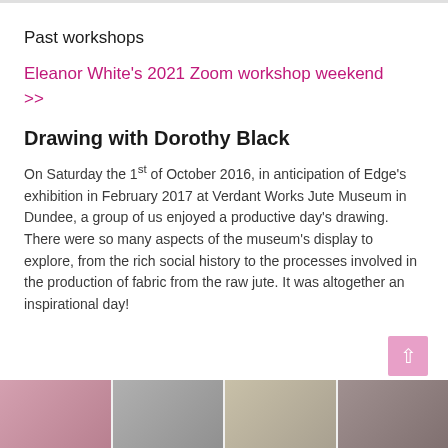Past workshops
Eleanor White's 2021 Zoom workshop weekend >>
Drawing with Dorothy Black
On Saturday the 1st of October 2016, in anticipation of Edge's exhibition in February 2017 at Verdant Works Jute Museum in Dundee, a group of us enjoyed a productive day's drawing. There were so many aspects of the museum's display to explore, from the rich social history to the processes involved in the production of fabric from the raw jute. It was altogether an inspirational day!
[Figure (photo): Four small thumbnail images in a horizontal strip at the bottom of the page, showing workshop-related photos in muted tones]